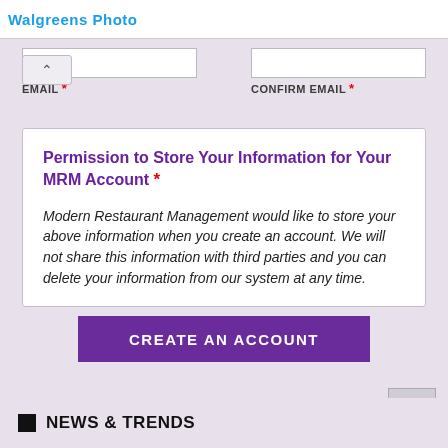Walgreens Photo
EMAIL * | CONFIRM EMAIL *
Permission to Store Your Information for Your MRM Account *
Modern Restaurant Management would like to store your above information when you create an account. We will not share this information with third parties and you can delete your information from our system at any time.
CREATE AN ACCOUNT
NEWS & TRENDS